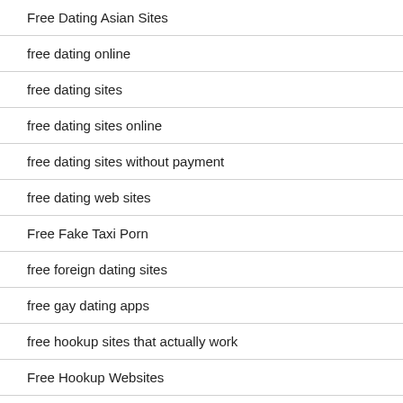Free Dating Asian Sites
free dating online
free dating sites
free dating sites online
free dating sites without payment
free dating web sites
Free Fake Taxi Porn
free foreign dating sites
free gay dating apps
free hookup sites that actually work
Free Hookup Websites